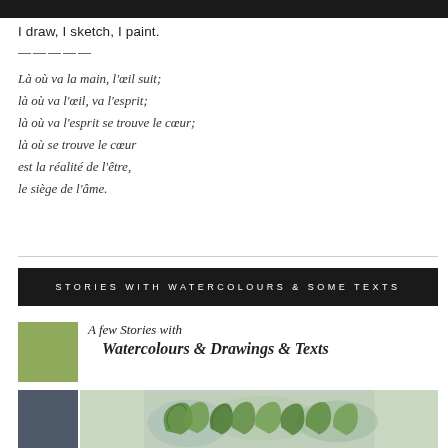I draw, I sketch, I paint.
————
Là où va la main, l'œil suit;
là où va l'œil, va l'esprit;
là où va l'esprit se trouve le cœur;
là où se trouve le cœur
est la réalité de l'être,
le siège de l'âme.
STORIES WITH WATERCOLOURS & SOME TEXTS
A few Stories with
Watercolours & Drawings & Texts
[Figure (illustration): Green square color swatch and below it a dark grey/blue square, alongside a watercolour illustration of green pear-like or bird-like shapes on a blue-grey background.]